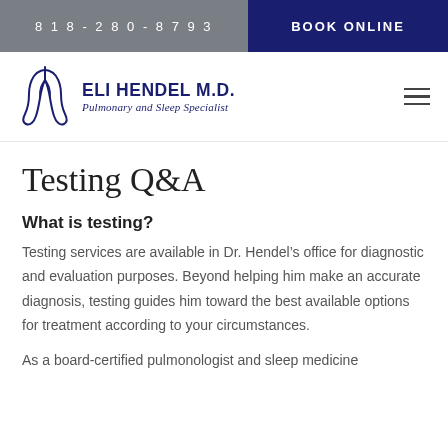818-280-8793   BOOK ONLINE
[Figure (logo): Eli Hendel M.D. Pulmonary and Sleep Specialist logo with lung icon]
Testing Q&A
What is testing?
Testing services are available in Dr. Hendel’s office for diagnostic and evaluation purposes. Beyond helping him make an accurate diagnosis, testing guides him toward the best available options for treatment according to your circumstances.
As a board-certified pulmonologist and sleep medicine